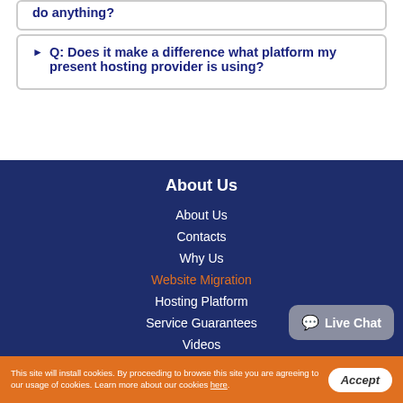do anything?
Q: Does it make a difference what platform my present hosting provider is using?
About Us
About Us
Contacts
Why Us
Website Migration
Hosting Platform
Service Guarantees
Videos
All Legal Documents
This site will install cookies. By proceeding to browse this site you are agreeing to our usage of cookies. Learn more about our cookies here.